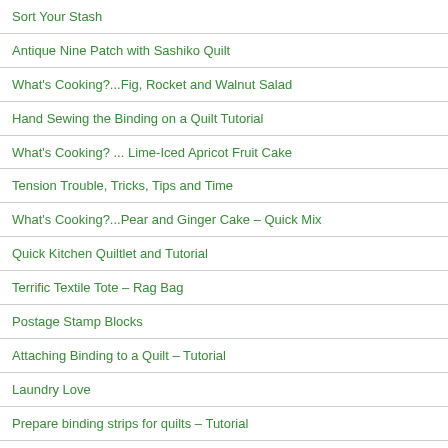Sort Your Stash
Antique Nine Patch with Sashiko Quilt
What's Cooking?...Fig, Rocket and Walnut Salad
Hand Sewing the Binding on a Quilt Tutorial
What's Cooking? ... Lime-Iced Apricot Fruit Cake
Tension Trouble, Tricks, Tips and Time
What's Cooking?...Pear and Ginger Cake – Quick Mix
Quick Kitchen Quiltlet and Tutorial
Terrific Textile Tote – Rag Bag
Postage Stamp Blocks
Attaching Binding to a Quilt – Tutorial
Laundry Love
Prepare binding strips for quilts – Tutorial